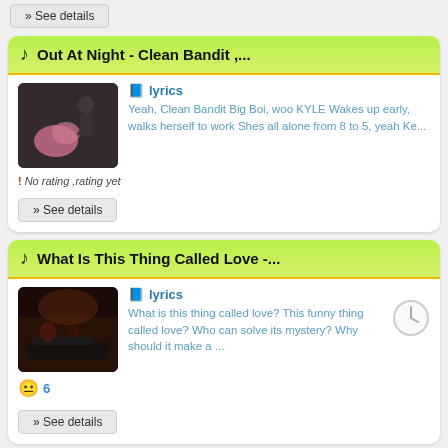» See details
🎵 Out At Night - Clean Bandit ,...
📘 lyrics
Yeah, Clean Bandit Big Boi, woo KYLE Wakes up early, walks herself to work Shes all alone from 8 to 5, yeah Ke...
! No rating ,rating yet
» See details
🎵 What Is This Thing Called Love -...
📘 lyrics
What is this thing called love? This funny thing called love? Who can solve its mystery? Why should it make a ...
😐 6
» See details